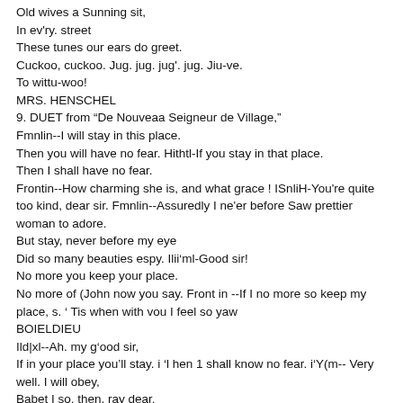Old wives a Sunning sit,
In ev'ry. street
These tunes our ears do greet.
Cuckoo, cuckoo. Jug. jug. jug'. jug. Jiu-ve.
To wittu-woo!
MRS. HENSCHEL
9. DUET from "De Nouveaa Seigneur de Village,"
Fmnlin--I will stay in this place.
Then you will have no fear. Hithtl-If you stay in that place.
Then I shall have no fear.
Frontin--How charming she is, and what grace ! ISnliH-You're quite too kind, dear sir. Fmnlin--Assuredly I ne'er before Saw prettier woman to adore.
But stay, never before my eye
Did so many beauties espy. Ilii'ml-Good sir!
No more you keep your place.
No more of (John now you say. Front in --If I no more so keep my place, s. ' Tis when with vou I feel so yaw
BOIELDIEU
Ild|xl--Ah. my g'ood sir,
If in your place you'll stay. i 'l hen 1 shall know no fear. i'Y(m-- Very well. I will obey,
Babet I so. then, ray dear.
('olin to please ou knew,